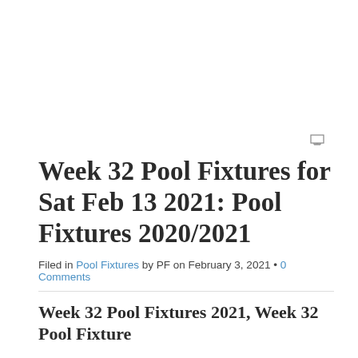[Figure (other): Advertisement or placeholder area (white space with a small ad icon in the upper right area)]
Week 32 Pool Fixtures for Sat Feb 13 2021: Pool Fixtures 2020/2021
Filed in Pool Fixtures by PF on February 3, 2021 • 0 Comments
Week 32 Pool Fixtures 2021, Week 32 Pool Fixture